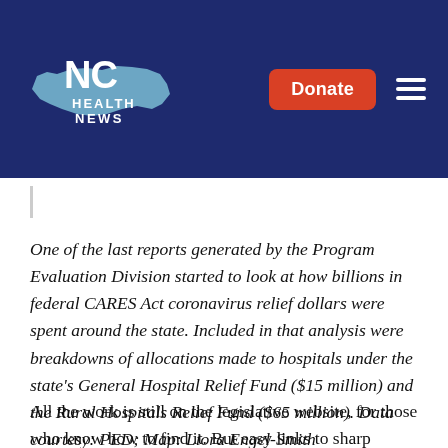[Figure (logo): NC Health News logo on dark navy blue header background with Donate button and hamburger menu]
One of the last reports generated by the Program Evaluation Division started to look at how billions in federal CARES Act coronavirus relief dollars were spent around the state. Included in that analysis were breakdowns of allocations made to hospitals under the state's General Hospital Relief Fund ($15 million) and the Rural Hospitals Relief Fund ($65 million). Data courtesy: PED; Map: Liora Engel-Smith
All the work is still on the legislative website, for those who know how to find it. But easy links to sharp